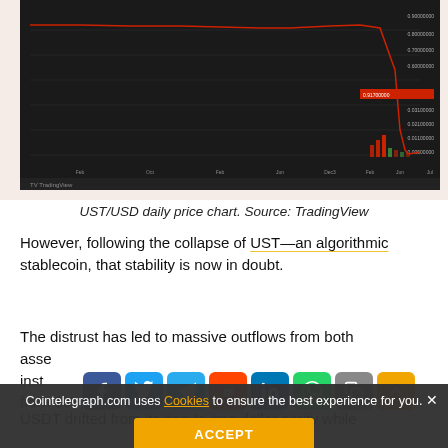[Figure (screenshot): UST/USD daily price chart from TradingView showing a dramatic price collapse, with candlestick chart on dark background, price crashing near right side of chart. Red volume bars visible at bottom.]
UST/USD daily price chart. Source: TradingView
However, following the collapse of UST—an algorithmic stablecoin, that stability is now in doubt.
The distrust has led to massive outflows from both assets. The total crypto market cap, which stood at institutions from $83.22 billion on May 9—the day on which UST started losing its dollar peg—to $72.45 billion on June 2.
USDT drifted from its one-to-one dollar parity while